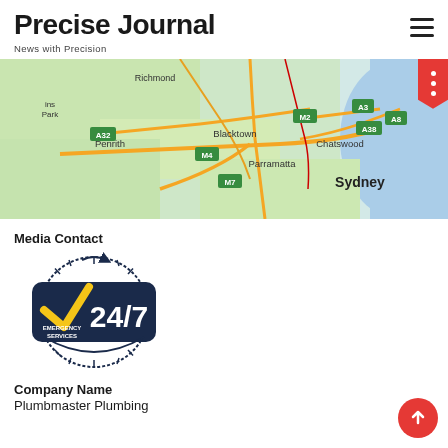Precise Journal — News with Precision
[Figure (map): Map of Sydney metropolitan area showing suburbs including Richmond, Penrith, Blacktown, Parramatta, Chatswood, Sydney, and motorway routes M2, M4, M7, A3, A8, A32, A38]
Media Contact
[Figure (logo): 24/7 Emergency Services logo with dark navy badge, yellow checkmark, and circular clock/gauge border]
Company Name
Plumbmaster Plumbing